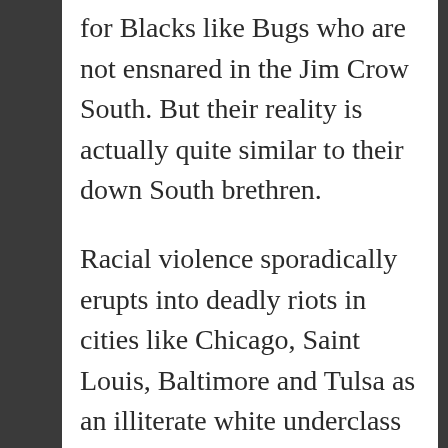for Blacks like Bugs who are not ensnared in the Jim Crow South. But their reality is actually quite similar to their down South brethren.
Racial violence sporadically erupts into deadly riots in cities like Chicago, Saint Louis, Baltimore and Tulsa as an illiterate white underclass competes with black laborers migrating from the oppression of the former Confederate states. Even in